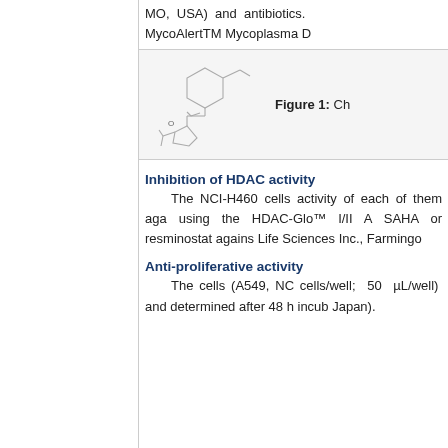MO, USA) and antibiotics. MycoAlertTM Mycoplasma D
[Figure (illustration): Chemical structure drawing of a molecule with cyclohexane and pyrrolidine rings]
Figure 1: Ch
Inhibition of HDAC activity
The NCI-H460 cells activity of each of them aga using the HDAC-Glo™ I/II A SAHA or resminostat agains Life Sciences Inc., Farmingo
Anti-proliferative activity
The cells (A549, NC cells/well; 50 µL/well) and determined after 48 h incub Japan).